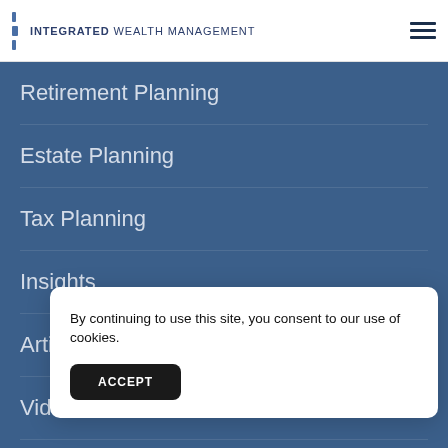INTEGRATED WEALTH MANAGEMENT
Retirement Planning
Estate Planning
Tax Planning
Insights
Articles
Videos
In
Gu
Gl
By continuing to use this site, you consent to our use of cookies.
ACCEPT